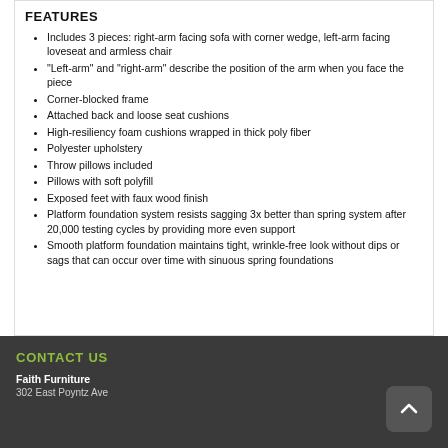FEATURES
Includes 3 pieces: right-arm facing sofa with corner wedge, left-arm facing loveseat and armless chair
"Left-arm" and "right-arm" describe the position of the arm when you face the piece
Corner-blocked frame
Attached back and loose seat cushions
High-resiliency foam cushions wrapped in thick poly fiber
Polyester upholstery
Throw pillows included
Pillows with soft polyfill
Exposed feet with faux wood finish
Platform foundation system resists sagging 3x better than spring system after 20,000 testing cycles by providing more even support
Smooth platform foundation maintains tight, wrinkle-free look without dips or sags that can occur over time with sinuous spring foundations
CONTACT US
Faith Furniture
302 East Poyntz Ave